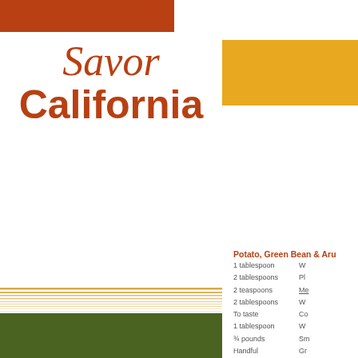Savor California
Potato, Green Bean & Aru...
1 tablespoon   W...
2 tablespoons   Pl...
2 teaspoons   Me...
2 tablespoons   W...
To taste   Co...
1 tablespoon   W...
¾ pounds   Sm...
Handful   Gr...
Handful   Ba...
Whisk together vinegar, yogurt, season with salt and pepper. Ad... whisking until emulsified.
Cut potatoes crosswise into 1/2... of salted water to a boil. Add po...